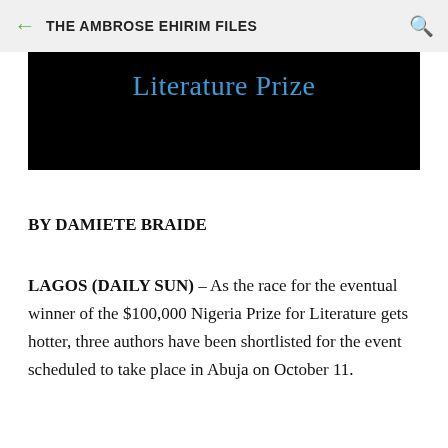THE AMBROSE EHIRIM FILES
[Figure (illustration): Black banner image with 'Literature Prize' text in blue]
BY DAMIETE BRAIDE
LAGOS (DAILY SUN) – As the race for the eventual winner of the $100,000 Nigeria Prize for Literature gets hotter, three authors have been shortlisted for the event scheduled to take place in Abuja on October 11.